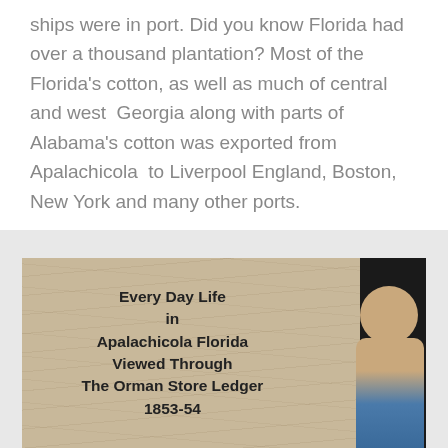ships were in port. Did you know Florida had over a thousand plantation? Most of the Florida's cotton, as well as much of central and west Georgia along with parts of Alabama's cotton was exported from Apalachicola to Liverpool England, Boston, New York and many other ports.
[Figure (screenshot): Video thumbnail showing title text 'Every Day Life in Apalachicola Florida Viewed Through The Orman Store Ledger 1853-54' overlaid on a parchment/handwritten ledger background, with a man visible on the right side of the image.]